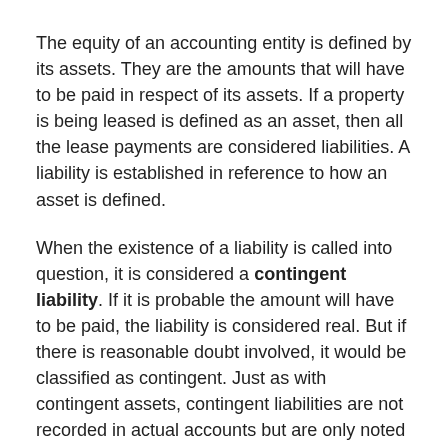The equity of an accounting entity is defined by its assets. They are the amounts that will have to be paid in respect of its assets. If a property is being leased is defined as an asset, then all the lease payments are considered liabilities. A liability is established in reference to how an asset is defined.
When the existence of a liability is called into question, it is considered a contingent liability. If it is probable the amount will have to be paid, the liability is considered real. But if there is reasonable doubt involved, it would be classified as contingent. Just as with contingent assets, contingent liabilities are not recorded in actual accounts but are only noted on financial statements.
There are times when money will have to be paid but the specific amount is not determinable. Therefore, the liability is real because it is certain money will be paid out but the amount cannot be reasonably estimated. The least probable amount is then recorded in the accounts while a note is made in the financial statements explaining the situation along with...